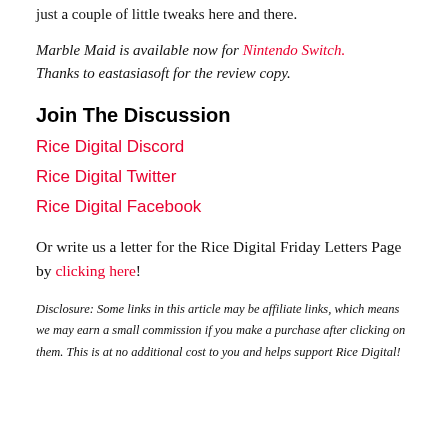just a couple of little tweaks here and there.
Marble Maid is available now for Nintendo Switch. Thanks to eastasiasoft for the review copy.
Join The Discussion
Rice Digital Discord
Rice Digital Twitter
Rice Digital Facebook
Or write us a letter for the Rice Digital Friday Letters Page by clicking here!
Disclosure: Some links in this article may be affiliate links, which means we may earn a small commission if you make a purchase after clicking on them. This is at no additional cost to you and helps support Rice Digital!